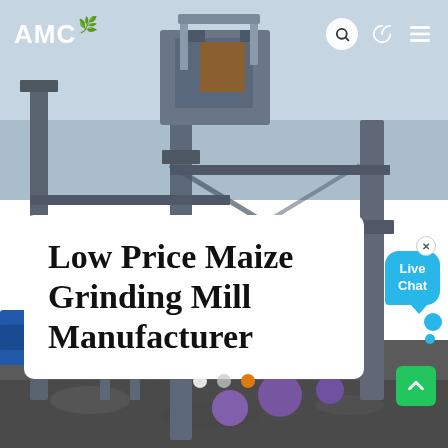[Figure (photo): Industrial maize grinding mill machinery with blue steel framework, conveyors, and purple pipes against a light sky background.]
AMC
Low Price Maize Grinding Mill Manufacturer
[Figure (infographic): Live Chat speech bubble in blue with white text 'Live Chat']